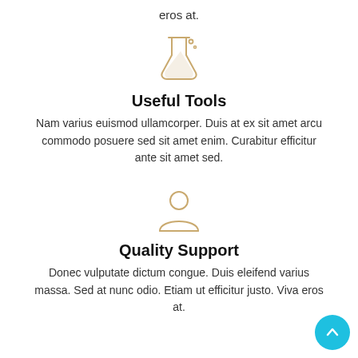eros at.
[Figure (illustration): Golden/tan flask/beaker icon with bubbles, representing tools or chemistry]
Useful Tools
Nam varius euismod ullamcorper. Duis at ex sit amet arcu commodo posuere sed sit amet enim. Curabitur efficitur ante sit amet sed.
[Figure (illustration): Golden/tan person/user silhouette icon representing support]
Quality Support
Donec vulputate dictum congue. Duis eleifend varius massa. Sed at nunc odio. Etiam ut efficitur justo. Viva eros at.
[Figure (illustration): Cyan circular back-to-top button with upward chevron arrow]